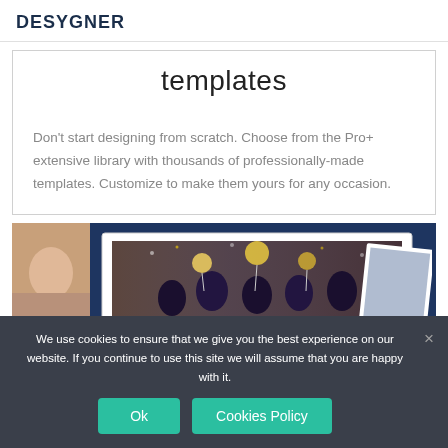DESYGNER
templates
Don't start designing from scratch. Choose from the Pro+ extensive library with thousands of professionally-made templates. Customize to make them yours for any occasion.
[Figure (photo): Photo collage showing people celebrating with balloons and confetti, overlaid on a dark navy background, with polaroid-style photo frames]
We use cookies to ensure that we give you the best experience on our website. If you continue to use this site we will assume that you are happy with it.
Ok  Cookies Policy